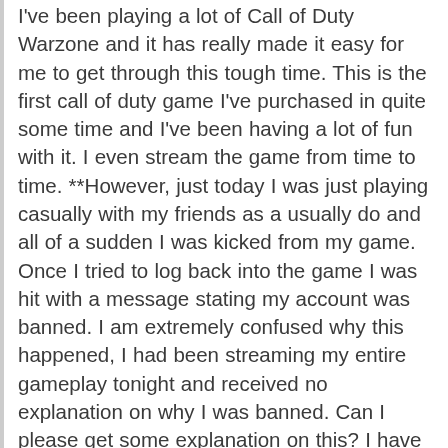I've been playing a lot of Call of Duty Warzone and it has really made it easy for me to get through this tough time. This is the first call of duty game I've purchased in quite some time and I've been having a lot of fun with it. I even stream the game from time to time. **However, just today I was just playing casually with my friends as a usually do and all of a sudden I was kicked from my game. Once I tried to log back into the game I was hit with a message stating my account was banned. I am extremely confused why this happened, I had been streaming my entire gameplay tonight and received no explanation on why I was banned. Can I please get some explanation on this? I have spent lots of money on COD points, skins and I even paid for the full game. **Can you help me look into this please? I believe I was wrongfully banned and would love to get this rectified. **If